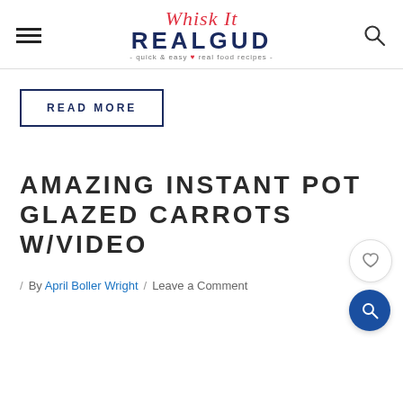Whisk It REALGUD - quick & easy real food recipes -
READ MORE
AMAZING INSTANT POT GLAZED CARROTS W/VIDEO
/ By April Boller Wright / Leave a Comment